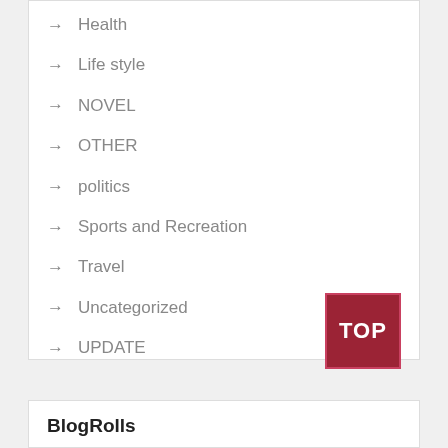Health
Life style
NOVEL
OTHER
politics
Sports and Recreation
Travel
Uncategorized
UPDATE
BlogRolls